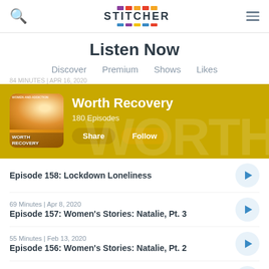Stitcher — Listen Now
Listen Now
Discover   Premium   Shows   Likes
[Figure (screenshot): Worth Recovery podcast hero banner with album art showing woman, title 'Worth Recovery', '180 Episodes', and Share/Follow buttons on a gold/yellow background]
Episode 158: Lockdown Loneliness
69 Minutes | Apr 8, 2020
Episode 157: Women's Stories: Natalie, Pt. 3
55 Minutes | Feb 13, 2020
Episode 156: Women's Stories: Natalie, Pt. 2
52 Minutes | Feb 2, 2020
Episode 155: Women's Stories: Natalie, Pt. 1